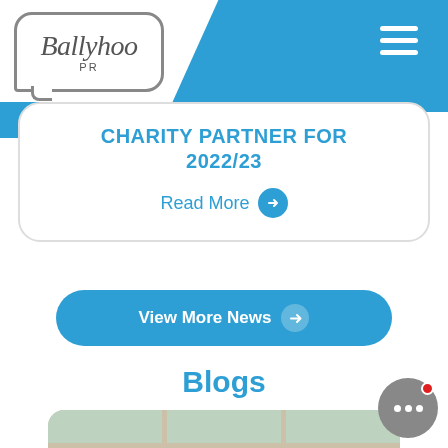[Figure (logo): Ballyhoo PR logo in speech bubble with grey border]
CHARITY PARTNER FOR 2022/23
Read More →
View More News →
Blogs
[Figure (photo): Photo of a room with white-framed windows, blog card image]